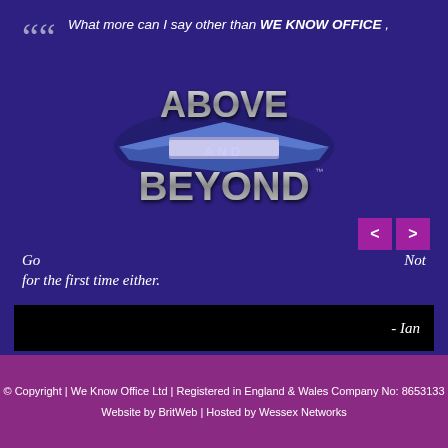“What more can I say other than WE KNOW OFFICE, [ABOVE AND BEYOND logo] Go   Not for the first time either.
[Figure (logo): ABOVE AND BEYOND stylized chrome/silver 3D logo with blue metallic wing design]
- Ian
© Copyright | We Know Office Ltd | Registered in England & Wales Company No: 8653133
Website by BritWeb | Hosted by Wessex Networks